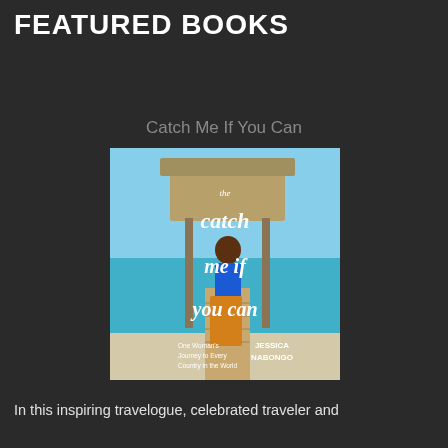FEATURED BOOKS
Catch Me If You Can
[Figure (photo): Book cover of 'The Catch Me If You Can: One Woman's Journey to Every Country in the World' by Jessica Nabongo, featuring a woman in a blue outfit on a tropical beach with a thatched umbrella.]
In this inspiring travelogue, celebrated traveler and